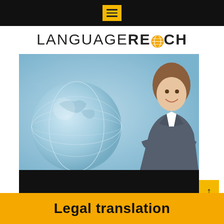Navigation menu bar (black bar with yellow hamburger menu icon)
LANGUAGEREACH (logo with globe icon in place of A)
[Figure (photo): Business woman in grey suit standing with arms crossed in front of a blue-toned globe background]
Legal translation